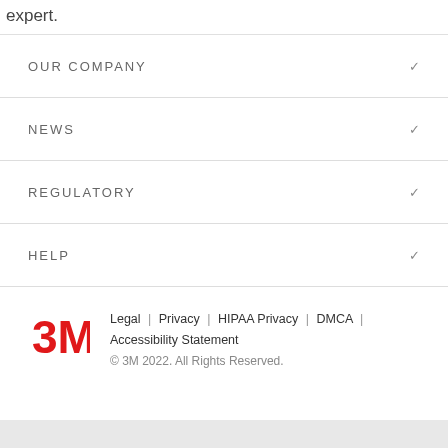expert.
OUR COMPANY
NEWS
REGULATORY
HELP
Legal | Privacy | HIPAA Privacy | DMCA | Accessibility Statement
© 3M 2022. All Rights Reserved.